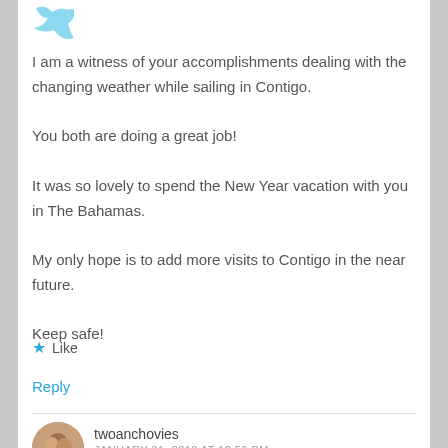[Figure (illustration): Partial blue bird/twitter-style icon at top left]
I am a witness of your accomplishments dealing with the changing weather while sailing in Contigo.
You both are doing a great job!
It was so lovely to spend the New Year vacation with you in The Bahamas.
My only hope is to add more visits to Contigo in the near future.
Keep safe!
★ Like
Reply
[Figure (photo): Circular avatar photo of a man and woman]
twoanchovies
JANUARY 31, 2018 AT 12:56 PM